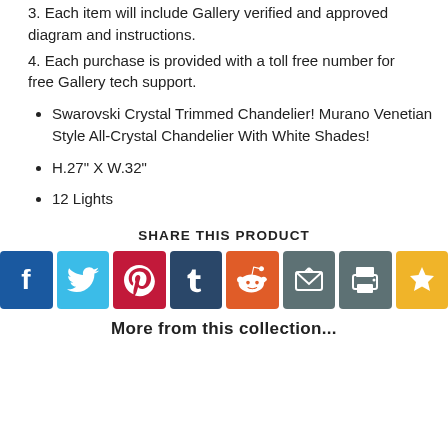3. Each item will include Gallery verified and approved diagram and instructions.
4. Each purchase is provided with a toll free number for free Gallery tech support.
Swarovski Crystal Trimmed Chandelier! Murano Venetian Style All-Crystal Chandelier With White Shades!
H.27" X W.32"
12 Lights
SHARE THIS PRODUCT
[Figure (infographic): Row of 8 social sharing icon buttons: Facebook (blue), Twitter (light blue), Pinterest (red), Tumblr (dark blue), Reddit (orange), Email (grey), Print (grey), Favorite star (yellow)]
More from this collection...